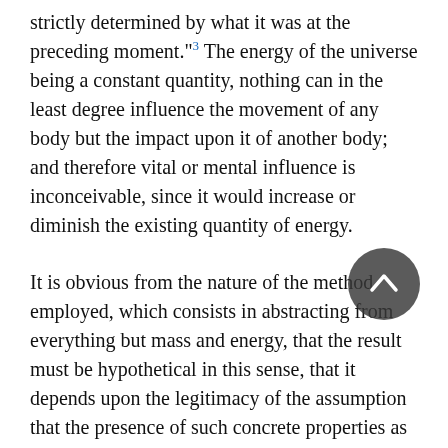strictly determined by what it was at the preceding moment.³ The energy of the universe being a constant quantity, nothing can in the least degree influence the movement of any body but the impact upon it of another body; and therefore vital or mental influence is inconceivable, since it would increase or diminish the existing quantity of energy.
It is obvious from the nature of the method employed, which consists in abstracting from everything but mass and energy, that the result must be hypothetical in this sense, that it depends upon the legitimacy of the assumption that the presence of such concrete properties as density, cohesion, chemical affinity and vital phenomena in no way alters the validity of the conclusion. Whatever the other properties of a body may be, its mass and energy, it is held, may be determined independently. What the mechanical theory of the world proves, therefore, is that, however